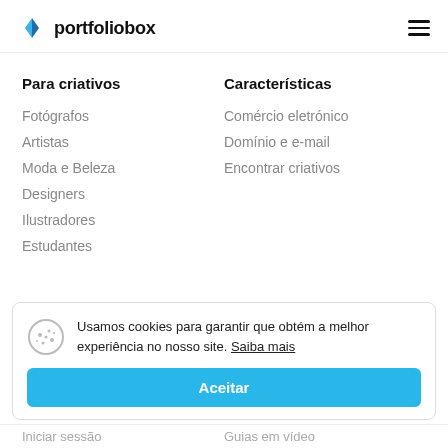portfoliobox
Para criativos
Características
Fotógrafos
Artistas
Moda e Beleza
Designers
Ilustradores
Estudantes
Comércio eletrónico
Domínio e e-mail
Encontrar criativos
Usamos cookies para garantir que obtém a melhor experiência no nosso site. Saiba mais
Aceitar
Iniciar sessão
Guias em vídeo